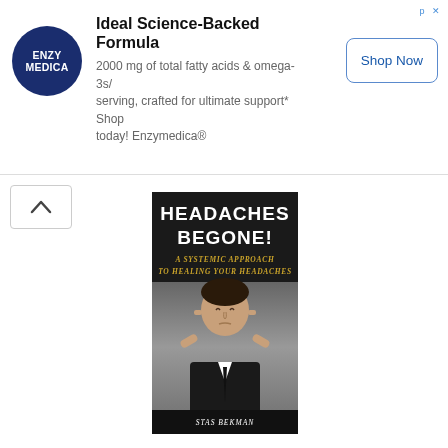[Figure (other): Enzymedica advertisement banner with logo, title 'Ideal Science-Backed Formula', body text about 2000 mg fatty acids and omega-3s, and a Shop Now button]
[Figure (illustration): Book cover for 'Headaches Begone! A Systemic Approach To Healing Your Headaches' by Stas Bekman, featuring a man holding his head in pain against a dark background]